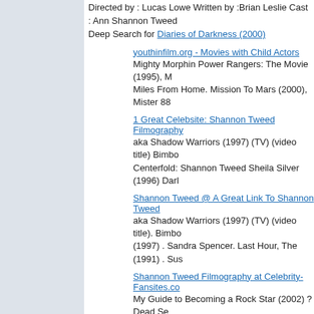Directed by : Lucas Lowe Written by :Brian Leslie Cast : Ann Shannon Tweed
Deep Search for Diaries of Darkness (2000)
youthinfilm.org - Movies with Child Actors
Mighty Morphin Power Rangers: The Movie (1995), M Miles From Home. Mission To Mars (2000), Mister 88
1 Great Celebsite: Shannon Tweed Filmography
aka Shadow Warriors (1997) (TV) (video title) Bimbo Centerfold: Shannon Tweed Sheila Silver (1996) Darl
Shannon Tweed @ A Great Link To Shannon Tweed
aka Shadow Warriors (1997) (TV) (video title). Bimbo (1997) . Sandra Spencer. Last Hour, The (1991) . Sus
Shannon Tweed Filmography at Celebrity-Fansites.co
My Guide to Becoming a Rock Star (2002) ? Dead Se (1997) ? Bimbo Movie Bash
Search Score - 56%
Last Emperor, The (1987)
Directed by : Bernardo Bertolucci  Written by :Mark Peploe  B Released :December 18, 1987 Genre : Drama Length : 1
Deep Search for Last Emperor, The (1987)
http://cms1.pha.jhu.edu/~gwliang/FAVORITE/mt/list/a
1985 Double Zero ?????1981 Doug's 1st Movie ???? World ???1986 Force of One, A ????1980
Last Emperor of China
how P'u Yi, the last emperor of China, became the Ja during WWII